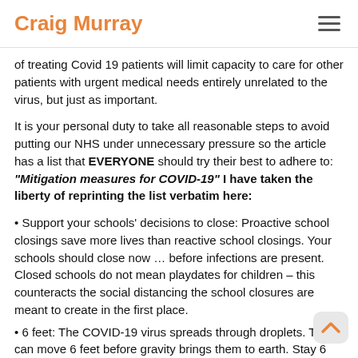Craig Murray
of treating Covid 19 patients will limit capacity to care for other patients with urgent medical needs entirely unrelated to the virus, but just as important.
It is your personal duty to take all reasonable steps to avoid putting our NHS under unnecessary pressure so the article has a list that EVERYONE should try their best to adhere to: "Mitigation measures for COVID-19" I have taken the liberty of reprinting the list verbatim here:
Support your schools' decisions to close: Proactive school closings save more lives than reactive school closings. Your schools should close now … before infections are present. Closed schools do not mean playdates for children – this counteracts the social distancing the school closures are meant to create in the first place.
6 feet: The COVID-19 virus spreads through droplets. They can move 6 feet before gravity brings them to earth. Stay 6 feet away from people if you need to go outside.